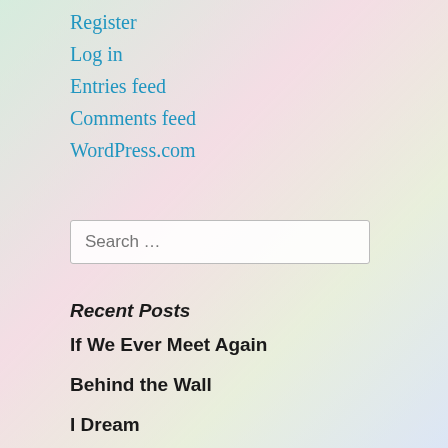Register
Log in
Entries feed
Comments feed
WordPress.com
Search …
Recent Posts
If We Ever Meet Again
Behind the Wall
I Dream